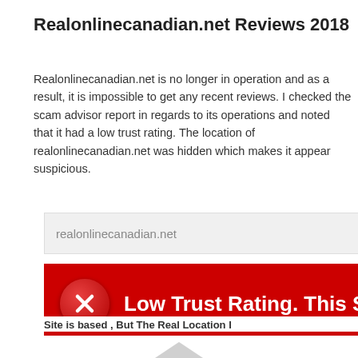Realonlinecanadian.net Reviews 2018
Realonlinecanadian.net is no longer in operation and as a result, it is impossible to get any recent reviews. I checked the scam advisor report in regards to its operations and noted that it had a low trust rating. The location of realonlinecanadian.net was hidden which makes it appear suspicious.
[Figure (screenshot): Search box input field with text 'realonlinecanadian.net' on a light grey background]
[Figure (screenshot): Red banner with a red circle X icon and white bold text reading 'Low Trust Rating. This Site Ma']
Site is based , But The Real Location I
[Figure (screenshot): Red bar near bottom of page]